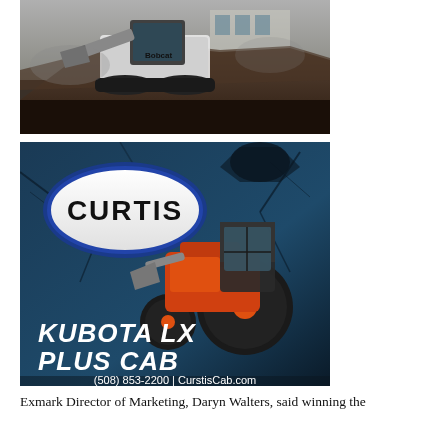[Figure (photo): A compact track loader (Bobcat) moving dirt/soil at a construction or demolition site, with a building visible in the background. Black and white toned photo.]
[Figure (photo): Advertisement for Curtis Cab featuring a Kubota LX Plus Cab tractor against a cracked dark blue wall background. White oval Curtis logo at top left. Orange Kubota tractor in center. Text reads 'KUBOTA LX PLUS CAB' in large white italic font, and '(508) 853-2200 | CurstisCab.com' at bottom.]
Exmark Director of Marketing, Daryn Walters, said winning the